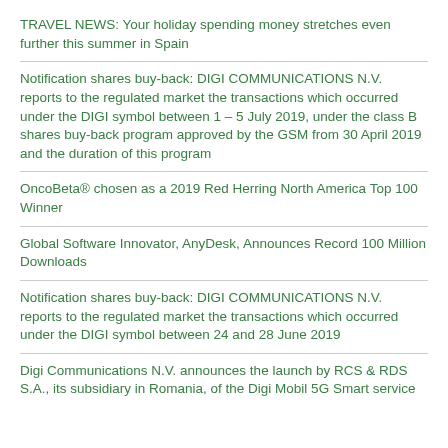TRAVEL NEWS: Your holiday spending money stretches even further this summer in Spain
Notification shares buy-back: DIGI COMMUNICATIONS N.V. reports to the regulated market the transactions which occurred under the DIGI symbol between 1 – 5 July 2019, under the class B shares buy-back program approved by the GSM from 30 April 2019 and the duration of this program
OncoBeta® chosen as a 2019 Red Herring North America Top 100 Winner
Global Software Innovator, AnyDesk, Announces Record 100 Million Downloads
Notification shares buy-back: DIGI COMMUNICATIONS N.V. reports to the regulated market the transactions which occurred under the DIGI symbol between 24 and 28 June 2019
Digi Communications N.V. announces the launch by RCS & RDS S.A., its subsidiary in Romania, of the Digi Mobil 5G Smart service